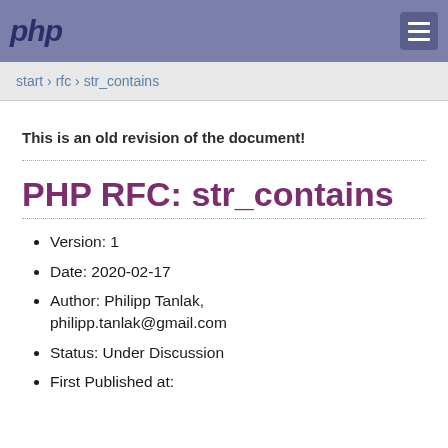php
start › rfc › str_contains
This is an old revision of the document!
PHP RFC: str_contains
Version: 1
Date: 2020-02-17
Author: Philipp Tanlak, philipp.tanlak@gmail.com
Status: Under Discussion
First Published at: